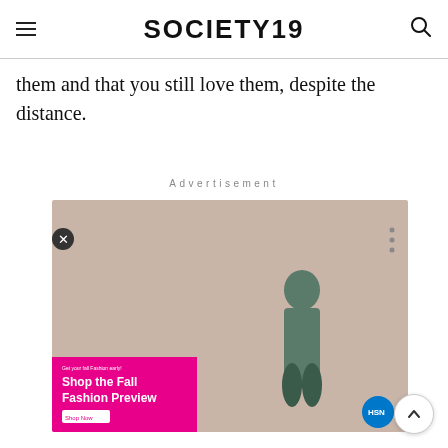SOCIETY19
them and that you still love them, despite the distance.
Advertisement
[Figure (photo): Advertisement banner for HSN Fall Fashion Preview featuring a model and a pink promotional section with the text 'Shop the Fall Fashion Preview']